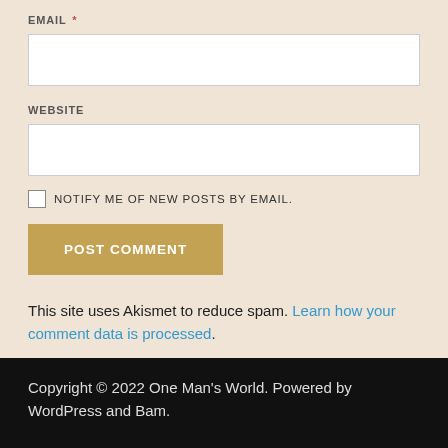EMAIL *
WEBSITE
NOTIFY ME OF NEW POSTS BY EMAIL.
POST COMMENT
This site uses Akismet to reduce spam. Learn how your comment data is processed.
Copyright © 2022 One Man's World. Powered by WordPress and Bam.